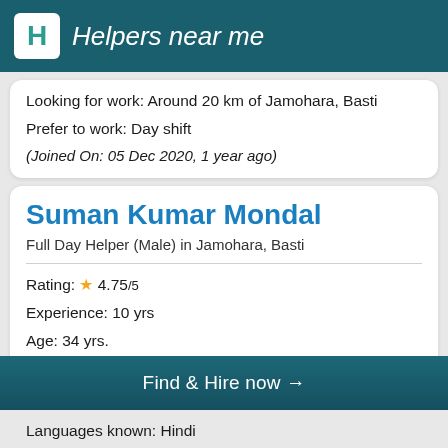Helpers near me
Looking for work: Around 20 km of Jamohara, Basti
Prefer to work: Day shift
(Joined On: 05 Dec 2020, 1 year ago)
Suman Kumar Mondal
Full Day Helper (Male) in Jamohara, Basti
Rating: ★ 4.75/5
Experience: 10 yrs
Age: 34 yrs.
Gender: Male
Find & Hire now →
Languages known: Hindi